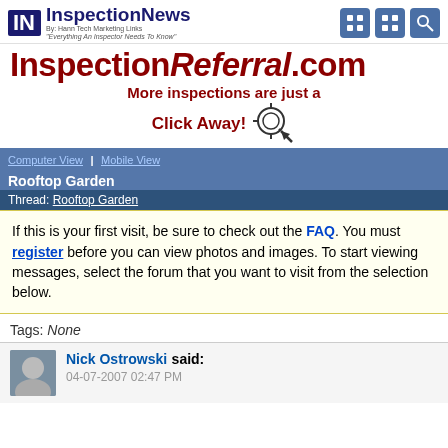[Figure (logo): InspectionNews logo with dark blue IN box and tagline 'Everything An Inspector Needs To Know']
[Figure (illustration): InspectionReferral.com banner with text 'More inspections are just a Click Away!' and cursor/click icon]
Computer View | Mobile View
Rooftop Garden
Thread: Rooftop Garden
If this is your first visit, be sure to check out the FAQ. You must register before you can view photos and images. To start viewing messages, select the forum that you want to visit from the selection below.
Tags: None
Nick Ostrowski said: 04-07-2007 02:47 PM